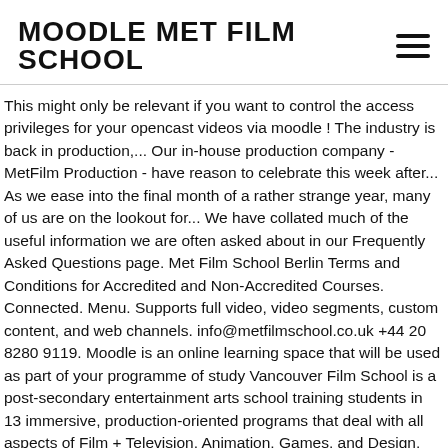MOODLE MET FILM SCHOOL
This might only be relevant if you want to control the access privileges for your opencast videos via moodle ! The industry is back in production,... Our in-house production company - MetFilm Production - have reason to celebrate this week after... As we ease into the final month of a rather strange year, many of us are on the lookout for... We have collated much of the useful information we are often asked about in our Frequently Asked Questions page. Met Film School Berlin Terms and Conditions for Accredited and Non-Accredited Courses. Connected. Menu. Supports full video, video segments, custom content, and web channels. info@metfilmschool.co.uk +44 20 8280 9119. Moodle is an online learning space that will be used as part of your programme of study Vancouver Film School is a post-secondary entertainment arts school training students in 13 immersive, production-oriented programs that deal with all aspects of Film + Television, Animation, Games, and Design. The most used open source LMS in the world. These courses are only available to EU and Swiss nationals, including those from Iceland, Liechtenstein and Norway. Ines Braga – 2007 MA Screenwriting Graduate You just plunge in and find your creative edge. - המרם לרפואת חרום הטיבת ההדרכה. Discussions de la communauté francophone. Need help with